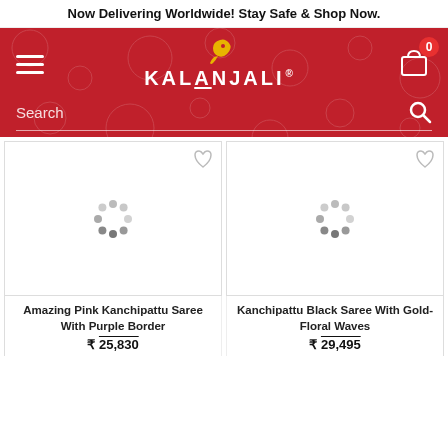Now Delivering Worldwide! Stay Safe & Shop Now.
[Figure (screenshot): Kalanjali e-commerce website header with red background, hamburger menu, logo, cart icon with badge showing 0, and search bar]
[Figure (other): Product card for Amazing Pink Kanchipattu Saree With Purple Border showing loading spinner and wishlist icon]
[Figure (other): Product card for Kanchipattu Black Saree With Gold-Floral Waves showing loading spinner and wishlist icon]
Amazing Pink Kanchipattu Saree With Purple Border
₹ 25,830
Kanchipattu Black Saree With Gold-Floral Waves
₹ 29,495